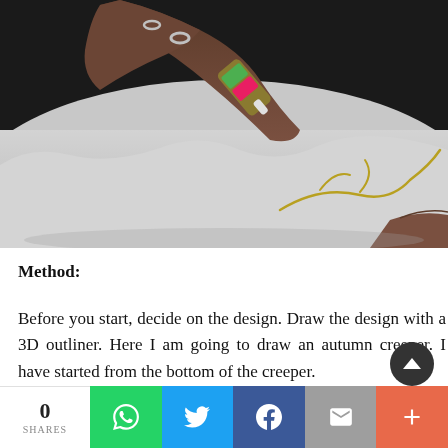[Figure (photo): Close-up photo of a hand holding a gold 3D outliner pen, drawing a golden floral/vine design on white fabric spread on a dark surface. The person wears rings. Another hand is visible at the bottom right.]
Method:
Before you start, decide on the design. Draw the design with a 3D outliner. Here I am going to draw an autumn creeper. I have started from the bottom of the creeper.